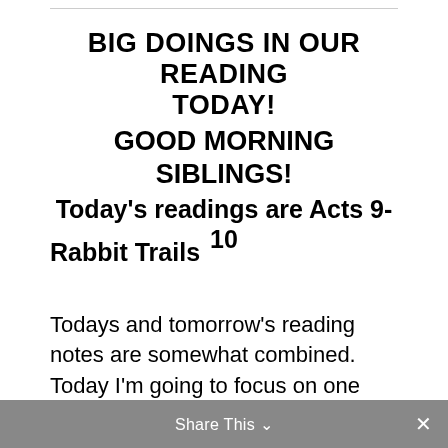BIG DOINGS IN OUR READING TODAY! GOOD MORNING SIBLINGS! Today's readings are Acts 9-10
Rabbit Trails
Todays and tomorrow's reading notes are somewhat combined. Today I'm going to focus on one aspect of our reading and then tomorrow, I'm going to focus on
Share This ∨  ×